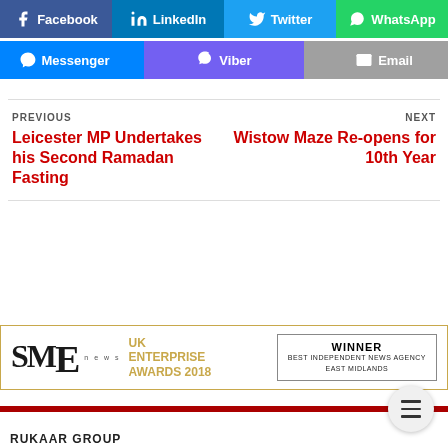[Figure (other): Social share buttons row: Facebook (blue), LinkedIn (blue), Twitter (light blue), WhatsApp (green)]
[Figure (other): Social share buttons row: Messenger (blue), Viber (purple), Email (grey)]
PREVIOUS
Leicester MP Undertakes his Second Ramadan Fasting
NEXT
Wistow Maze Re-opens for 10th Year
[Figure (logo): SME News UK Enterprise Awards 2018 - Winner Best Independent News Agency East Midlands]
RUKAAR GROUP